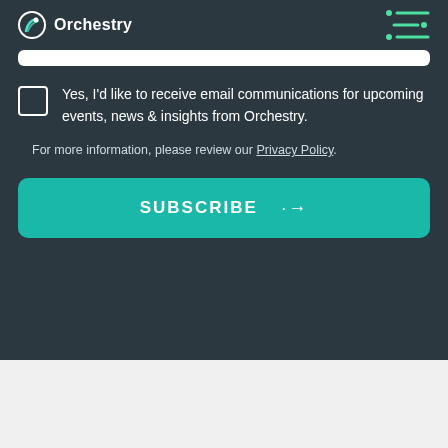Orchestry
Yes, I'd like to receive email communications for upcoming events, news & insights from Orchestry.
For more information, please review our Privacy Policy.
SUBSCRIBE →
[Figure (screenshot): Bottom portion showing a lighthouse and partial logo on a light blue/sky background]